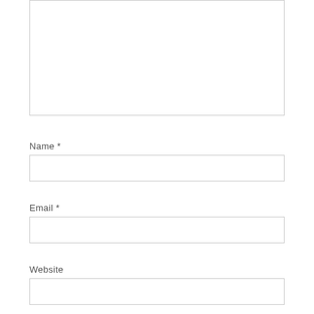[Figure (screenshot): A large empty textarea input box with a light gray border]
Name *
[Figure (screenshot): A single-line text input box for Name with a light gray border]
Email *
[Figure (screenshot): A single-line text input box for Email with a light gray border]
Website
[Figure (screenshot): A single-line text input box for Website with a light gray border]